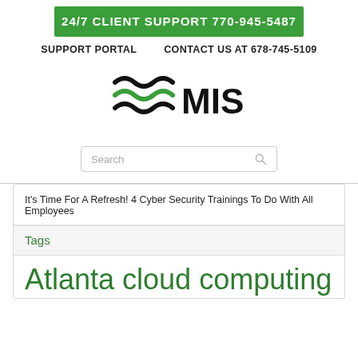24/7 CLIENT SUPPORT 770-945-5487
SUPPORT PORTAL   CONTACT US AT 678-745-5109
[Figure (logo): MIS logo with wave lines in black and green]
Search
It's Time For A Refresh! 4 Cyber Security Trainings To Do With All Employees
Tags
Atlanta cloud computing